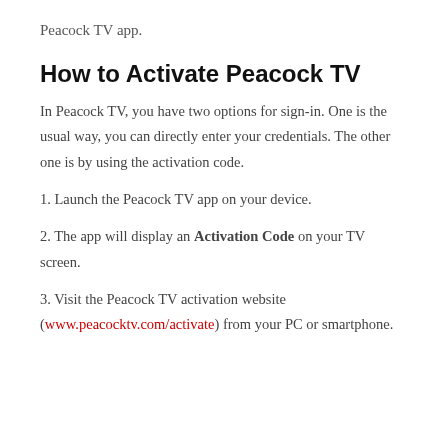Peacock TV app.
How to Activate Peacock TV
In Peacock TV, you have two options for sign-in. One is the usual way, you can directly enter your credentials. The other one is by using the activation code.
1. Launch the Peacock TV app on your device.
2. The app will display an Activation Code on your TV screen.
3. Visit the Peacock TV activation website (www.peacocktv.com/activate) from your PC or smartphone.